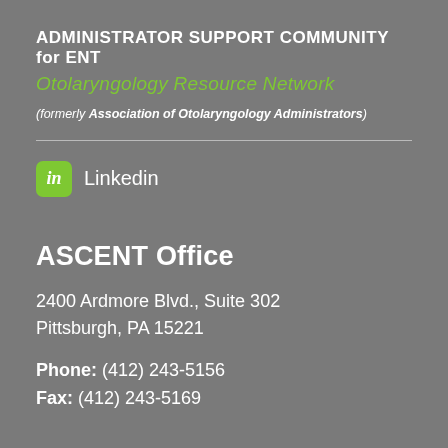ADMINISTRATOR SUPPORT COMMUNITY for ENT
Otolaryngology Resource Network
(formerly Association of Otolaryngology Administrators)
[Figure (logo): LinkedIn logo icon (green rounded square with 'in') followed by the text 'Linkedin']
ASCENT Office
2400 Ardmore Blvd., Suite 302
Pittsburgh, PA 15221
Phone: (412) 243-5156
Fax: (412) 243-5169